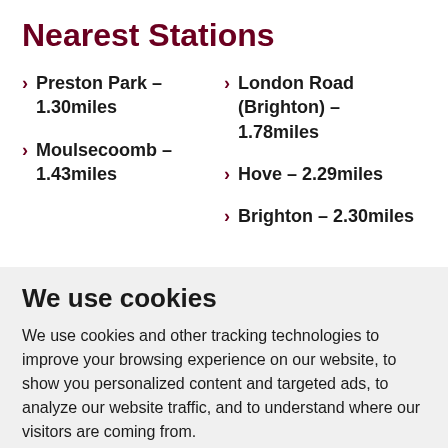Nearest Stations
Preston Park - 1.30miles
Moulsecoomb - 1.43miles
London Road (Brighton) - 1.78miles
Hove - 2.29miles
Brighton - 2.30miles
We use cookies
We use cookies and other tracking technologies to improve your browsing experience on our website, to show you personalized content and targeted ads, to analyze our website traffic, and to understand where our visitors are coming from.
I agree